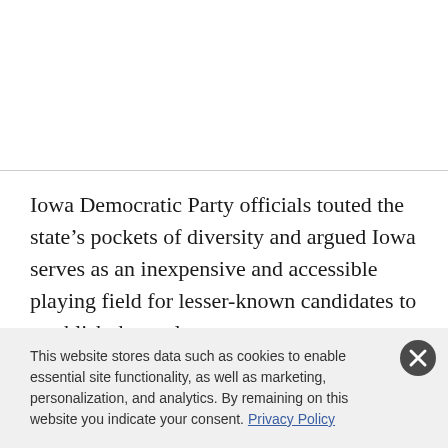Iowa Democratic Party officials touted the state's pockets of diversity and argued Iowa serves as an inexpensive and accessible playing field for lesser-known candidates to establish themselves.
This website stores data such as cookies to enable essential site functionality, as well as marketing, personalization, and analytics. By remaining on this website you indicate your consent. Privacy Policy